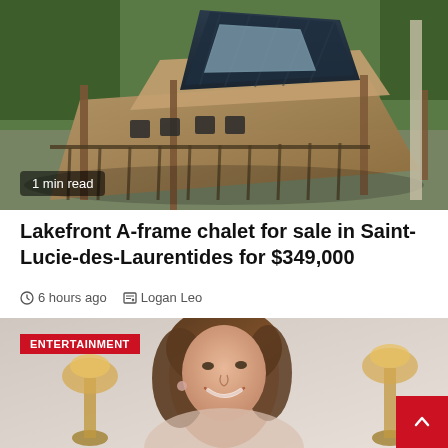[Figure (photo): Aerial view of a lakefront A-frame chalet with wooden decks, dark slate roof, and surrounded by trees. Badge reads '1 min read'.]
Lakefront A-frame chalet for sale in Saint-Lucie-des-Laurentides for $349,000
6 hours ago  Logan Leo
[Figure (photo): Photo of a smiling woman with brown hair, wearing earrings, with award trophies visible in the background. ENTERTAINMENT badge overlaid.]